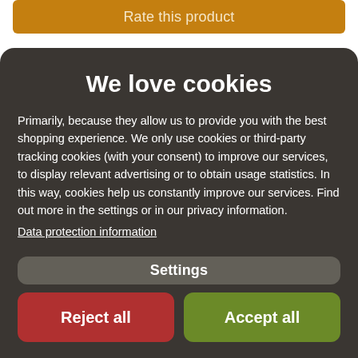Rate this product
We love cookies
Primarily, because they allow us to provide you with the best shopping experience. We only use cookies or third-party tracking cookies (with your consent) to improve our services, to display relevant advertising or to obtain usage statistics. In this way, cookies help us constantly improve our services. Find out more in the settings or in our privacy information. Data protection information
Settings
Reject all
Accept all